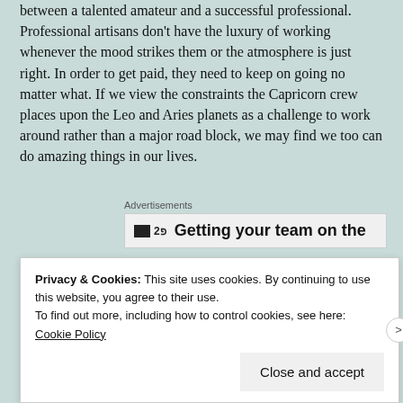between a talented amateur and a successful professional. Professional artisans don't have the luxury of working whenever the mood strikes them or the atmosphere is just right. In order to get paid, they need to keep on going no matter what. If we view the constraints the Capricorn crew places upon the Leo and Aries planets as a challenge to work around rather than a major road block, we may find we too can do amazing things in our lives.
[Figure (other): Advertisement banner with icon and headline text: 'Getting your team on the']
Please take time on this wonderful Leo New Moon to so something just for the fun of it too. Remember to look for the humor and laugh at Life's absurdities. Love and peace to all.
Privacy & Cookies: This site uses cookies. By continuing to use this website, you agree to their use. To find out more, including how to control cookies, see here: Cookie Policy